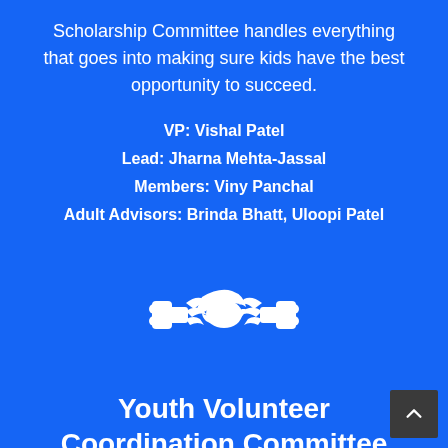Scholarship Committee handles everything that goes into making sure kids have the best opportunity to succeed.
VP: Vishal Patel
Lead: Jharna Mehta-Jassal
Members: Viny Panchal
Adult Advisors: Brinda Bhatt, Uloopi Patel
[Figure (illustration): White handshake icon on blue background, representing volunteer/partnership coordination]
Youth Volunteer Coordination Committee
Our Youth Volunteer Coordination Committee makes sure that our events are filled with energetic and